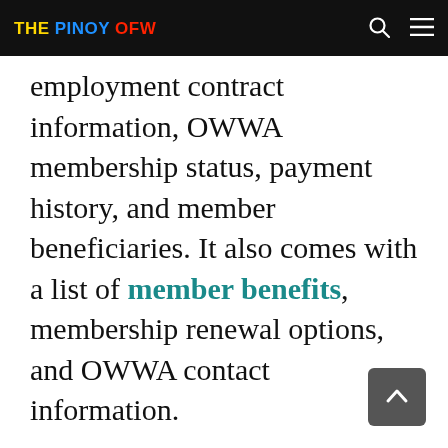THE PINOY OFW
employment contract information, OWWA membership status, payment history, and member beneficiaries. It also comes with a list of member benefits, membership renewal options, and OWWA contact information.